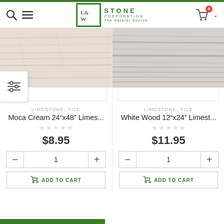L&W Stone Corporation The Natural Source — navigation header with search, menu, logo, cart (0)
[Figure (screenshot): Product card: Moca Cream 24"x48" Limestone tile image — light beige/cream wood-grain texture]
[Figure (screenshot): Product card: White Wood 12"x24" Limestone tile image — light grey/white linear stone texture]
LIMESTONE, TILE
Moca Cream 24”x48” Limes...
★★★★★ (empty stars)
$8.95
LIMESTONE, TILE
White Wood 12”x24” Limest...
★★★★★ (empty stars)
$11.95